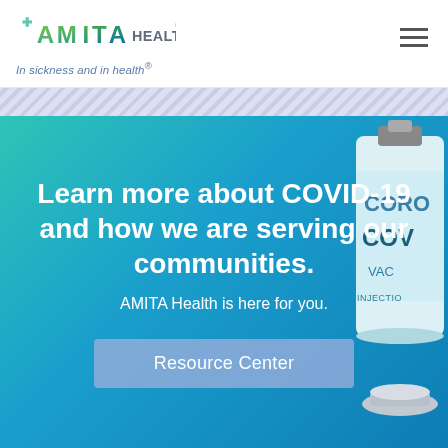[Figure (logo): AMITA HEALTH logo with green/blue gradient AMITA lettering and gray HEALTH text]
In sickness and in health®
[Figure (photo): COVID-19 vaccine vial with CORONA COVID label visible on right side of hero banner]
Learn more about COVID-19 and how we are serving our communities.
AMITA Health is here for you.
Resource Center